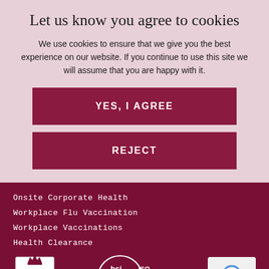Let us know you agree to cookies
We use cookies to ensure that we give you the best experience on our website. If you continue to use this site we will assume that you are happy with it.
YES, I AGREE
REJECT
Onsite Corporate Health
Workplace Flu Vaccination
Workplace Vaccinations
Health Clearance
[Figure (logo): UKAS certification logo with crown and heart symbol]
[Figure (logo): BSI ISO 9001:2015 Quality Management certification logo]
[Figure (logo): Google reCAPTCHA logo with Privacy and Terms text]